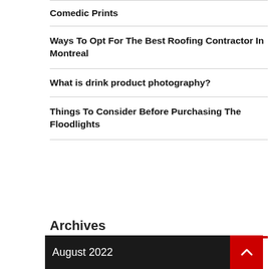Comedic Prints
Ways To Opt For The Best Roofing Contractor In Montreal
What is drink product photography?
Things To Consider Before Purchasing The Floodlights
[Figure (illustration): Social media share buttons: Facebook (blue circle with 'f'), Google+ (red circle with 'g+'), Twitter (blue circle with bird), and a dark circle with '+' sign]
Archives
August 2022